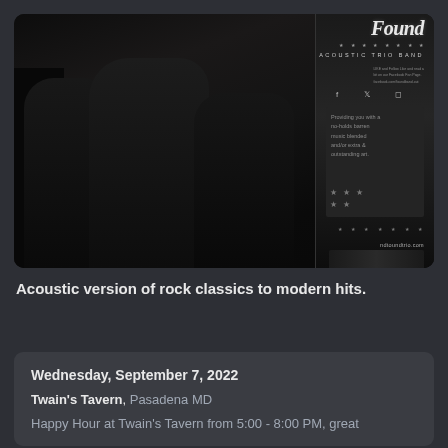[Figure (photo): Black and white photo of an acoustic trio band. Three men are posed, one seated in front wearing a black jacket and black t-shirt, two others standing behind. A promotional banner/poster for the band is visible on the right side with stars and flag imagery. The band name appears at the top. Text reads 'ACOUSTIC TRIO BAND' and 'ndtoundtrio.com'.]
Acoustic version of rock classics to modern hits.
Wednesday, September 7, 2022
Twain's Tavern, Pasadena MD
Happy Hour at Twain's Tavern from 5:00 - 8:00 PM, great